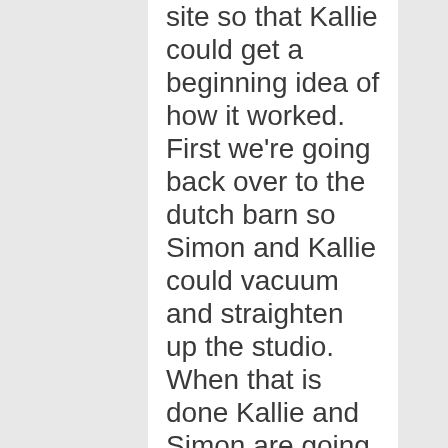site so that Kallie could get a beginning idea of how it worked. First we're going back over to the dutch barn so Simon and Kallie could vacuum and straighten up the studio. When that is done Kallie and Simon are going to remove the air conditioner to the bedroom, put down some storm windows,